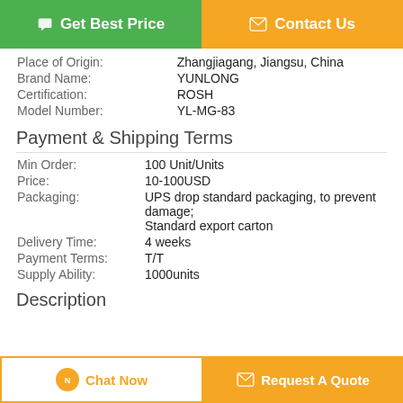[Figure (other): Two buttons at top: 'Get Best Price' (green) and 'Contact Us' (orange)]
| Place of Origin: | Zhangjiagang, Jiangsu, China |
| Brand Name: | YUNLONG |
| Certification: | ROSH |
| Model Number: | YL-MG-83 |
Payment & Shipping Terms
| Min Order: | 100 Unit/Units |
| Price: | 10-100USD |
| Packaging: | UPS drop standard packaging, to prevent damage; Standard export carton |
| Delivery Time: | 4 weeks |
| Payment Terms: | T/T |
| Supply Ability: | 1000units |
Description
[Figure (other): Bottom bar: 'Chat Now' button (white/orange outline) and 'Request A Quote' button (orange)]